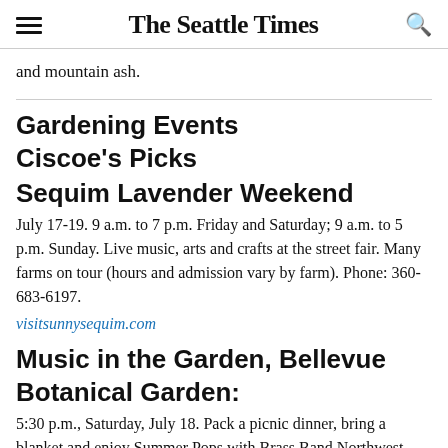The Seattle Times
and mountain ash.
Gardening Events
Ciscoe's Picks
Sequim Lavender Weekend
July 17-19. 9 a.m. to 7 p.m. Friday and Saturday; 9 a.m. to 5 p.m. Sunday. Live music, arts and crafts at the street fair. Many farms on tour (hours and admission vary by farm). Phone: 360-683-6197.
visitsunnysequim.com
Music in the Garden, Bellevue Botanical Garden:
5:30 p.m., Saturday, July 18. Pack a picnic dinner, bring a blanket and enjoy Summer Pops with Brass Band Northwest. Free. 12001 Main St., Bellevue.